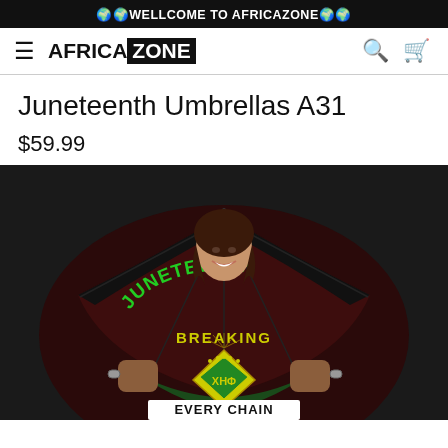🌍🌍WELLCOME TO AFRICAZONE🌍🌍
[Figure (logo): AfricaZone navigation bar with hamburger menu, AFRICAZONE logo (ZONE in black box), search icon, and cart icon]
Juneteenth Umbrellas A31
$59.99
[Figure (photo): Product photo: a woman smiling and holding open a decorative umbrella printed with Juneteenth Breaking Every Chain design featuring Pan-African colors (red, black, green), fists breaking chains, and Chi Eta Phi fraternity symbols (ΧΗΦ)]